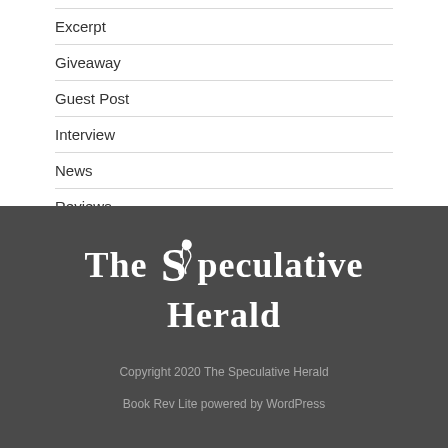Excerpt
Giveaway
Guest Post
Interview
News
Reviews
Upcoming Releases
[Figure (logo): The Speculative Herald logo with dragon icon, white text on dark gray background]
Copyright 2020 The Speculative Herald
Book Rev Lite powered by WordPress